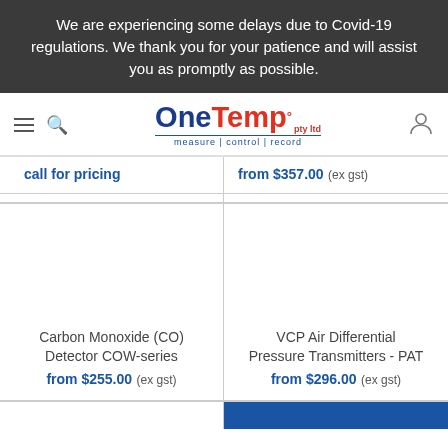We are experiencing some delays due to Covid-19 regulations. We thank you for your patience and will assist you as promptly as possible.
[Figure (logo): OneTemp pty ltd logo with tagline 'measure | control | record']
call for pricing
from $357.00 (ex gst)
Carbon Monoxide (CO) Detector COW-series
from $255.00 (ex gst)
VCP Air Differential Pressure Transmitters - PAT
from $296.00 (ex gst)